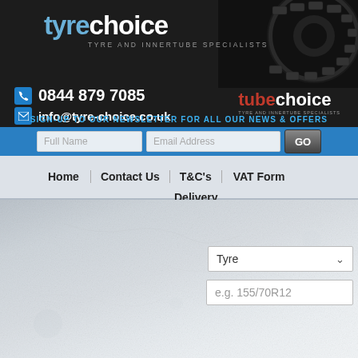[Figure (logo): Tyre Choice logo with tyre image - 'tyrechoice TYRE AND INNERTUBE SPECIALISTS' on dark background]
0844 879 7085
info@tyre-choice.co.uk
[Figure (logo): tubechoice - TYRE AND INNERTUBE SPECIALISTS logo]
SIGN-UP TO OUR NEWSLETTER FOR ALL OUR NEWS & OFFERS
Full Name | Email Address | GO
Home | Contact Us | T&C's | VAT Form | Delivery
Tyre (dropdown)
e.g. 155/70R12